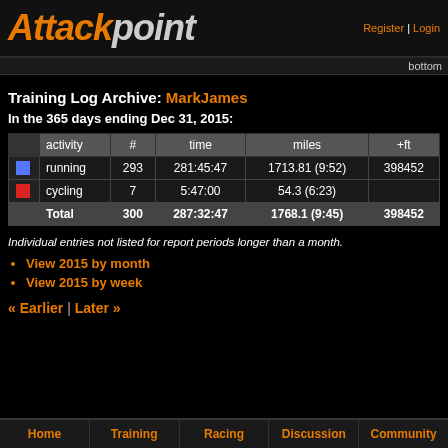Attackpoint — Register | Login
Training Log Archive: MarkJames
In the 365 days ending Dec 31, 2015:
|  | activity | # | time | miles | +ft |
| --- | --- | --- | --- | --- | --- |
| [blue] | running | 293 | 281:45:47 | 1713.81 (9:52) | 398452 |
| [red] | cycling | 7 | 5:47:00 | 54.3 (6:23) |  |
|  | Total | 300 | 287:32:47 | 1768.1 (9:45) | 398452 |
Individual entries not listed for report periods longer than a month.
View 2015 by month
View 2015 by week
« Earlier | Later »
Home | Training | Racing | Discussion | Community